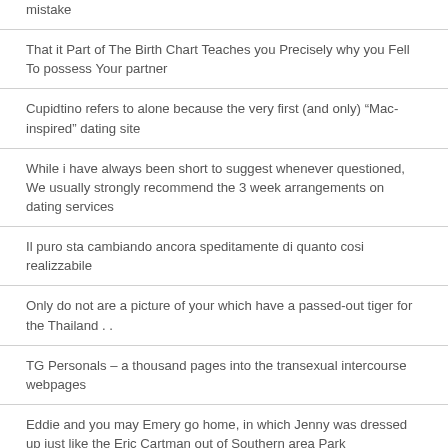mistake
That it Part of The Birth Chart Teaches you Precisely why you Fell To possess Your partner
Cupidtino refers to alone because the very first (and only) “Mac-inspired” dating site
While i have always been short to suggest whenever questioned, We usually strongly recommend the 3 week arrangements on dating services
Il puro sta cambiando ancora speditamente di quanto cosi realizzabile
Only do not are a picture of your which have a passed-out tiger for the Thailand . .
TG Personals – a thousand pages into the transexual intercourse webpages
Eddie and you may Emery go home, in which Jenny was dressed up just like the Eric Cartman out of Southern area Park
AsianDating (formerly Far-eastern Euro) ’s the fundamental Far eastern-concentrated webpages into Cupid News system